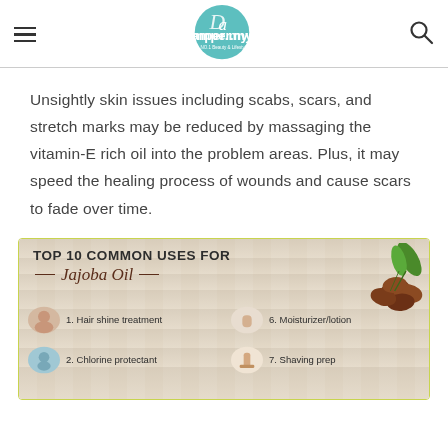pamper.my — Malaysia's NO.1 Beauty & Lifestyle Website
Unsightly skin issues including scabs, scars, and stretch marks may be reduced by massaging the vitamin-E rich oil into the problem areas. Plus, it may speed the healing process of wounds and cause scars to fade over time.
[Figure (infographic): Top 10 Common Uses for Jajoba Oil infographic on a wood-plank background. Lists: 1. Hair shine treatment, 2. Chlorine protectant, 6. Moisturizer/lotion, 7. Shaving prep, with oval thumbnail images beside each item. Decorative jojoba nuts shown top-right.]